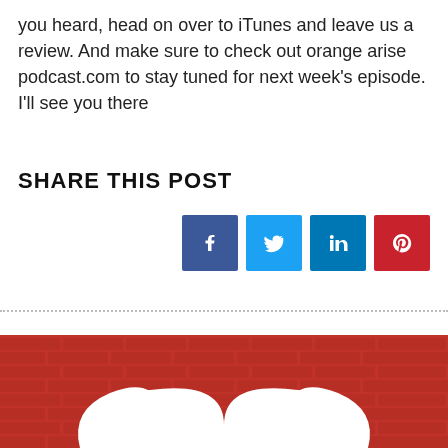you heard, head on over to iTunes and leave us a review. And make sure to check out orange arise podcast.com to stay tuned for next week's episode. I'll see you there
SHARE THIS POST
[Figure (infographic): Four social media share buttons: Facebook (dark blue), Twitter (light blue), LinkedIn (medium blue), Pinterest (red)]
[Figure (photo): Photo showing a red brick wall with a large white heart shape painted on it]